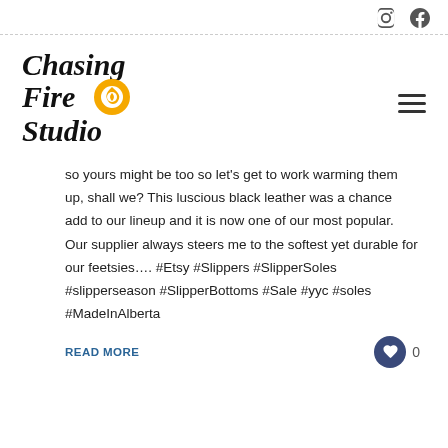[Instagram and Facebook social icons]
[Figure (logo): Chasing Fire Studio logo with script text and orange flame/swirl icon]
so yours might be too so let's get to work warming them up, shall we? This luscious black leather was a chance add to our lineup and it is now one of our most popular. Our supplier always steers me to the softest yet durable for our feetsies…. #Etsy #Slippers #SlipperSoles #slipperseason #SlipperBottoms #Sale #yyc #soles #MadeInAlberta
READ MORE
0